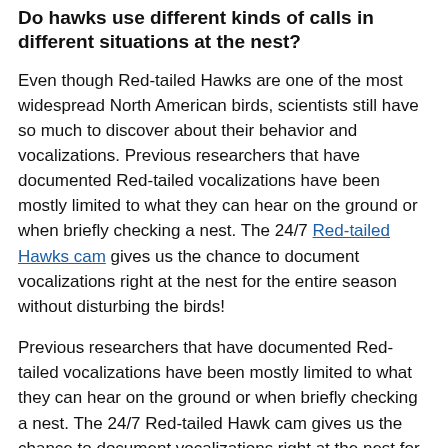Do hawks use different kinds of calls in different situations at the nest?
Even though Red-tailed Hawks are one of the most widespread North American birds, scientists still have so much to discover about their behavior and vocalizations. Previous researchers that have documented Red-tailed vocalizations have been mostly limited to what they can hear on the ground or when briefly checking a nest. The 24/7 Red-tailed Hawks cam gives us the chance to document vocalizations right at the nest for the entire season without disturbing the birds!
Previous researchers that have documented Red-tailed vocalizations have been mostly limited to what they can hear on the ground or when briefly checking a nest. The 24/7 Red-tailed Hawk cam gives us the chance to document vocalizations right at the nest for the entire season without disturbing the birds!